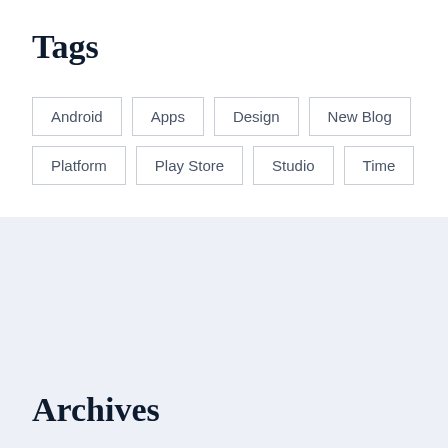Tags
Android
Apps
Design
New Blog
Platform
Play Store
Studio
Time
Archives